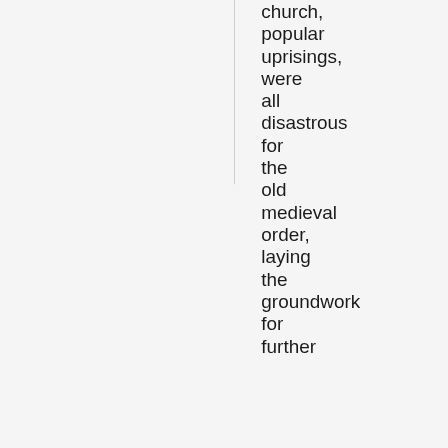church, popular uprisings, were all disastrous for the old medieval order, laying the groundwork for further